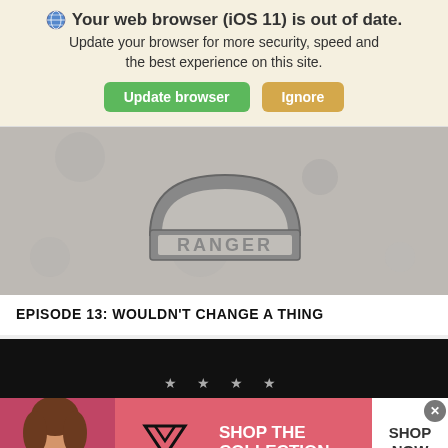Your web browser (iOS 11) is out of date. Update your browser for more security, speed and the best experience on this site.
[Figure (screenshot): Browser update banner with green 'Update browser' button and orange 'Ignore' button]
[Figure (photo): Grayscale image with a military RANGER tab patch on a textured background]
EPISODE 13: WOULDN'T CHANGE A THING
[Figure (photo): Victoria's Secret advertisement banner showing a model, VS logo, 'SHOP THE COLLECTION' text, and 'SHOP NOW' button]